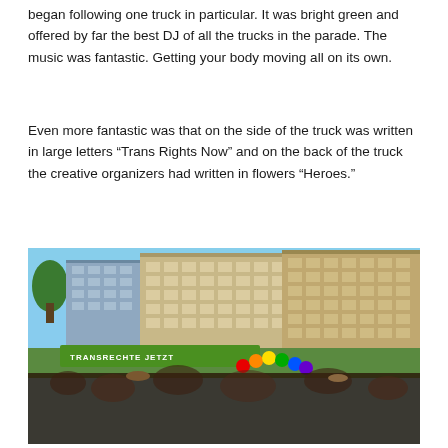began following one truck in particular. It was bright green and offered by far the best DJ of all the trucks in the parade. The music was fantastic. Getting your body moving all on its own.
Even more fantastic was that on the side of the truck was written in large letters “Trans Rights Now” and on the back of the truck the creative organizers had written in flowers “Heroes.”
[Figure (photo): Outdoor photo of a pride parade on a sunny day. A bright green truck with 'TRANSRECHTE JETZT' (Trans Rights Now) written on its banner is visible in the crowd. Rainbow-colored balloons are clustered near the truck. The street is lined with multi-story European-style buildings. A large crowd fills the street in the foreground.]